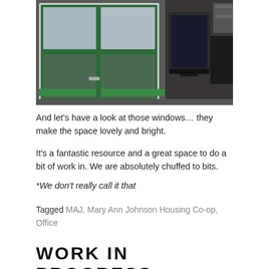[Figure (photo): Interior photo showing a room with green-framed windows letting in natural light, a monitor/screen visible on the right side, and a desk area in the background.]
And let's have a look at those windows… they make the space lovely and bright.
It's a fantastic resource and a great space to do a bit of work in. We are absolutely chuffed to bits.
*We don't really call it that
Tagged MAJ, Mary Ann Johnson Housing Co-op, Office
WORK IN PROGRESS